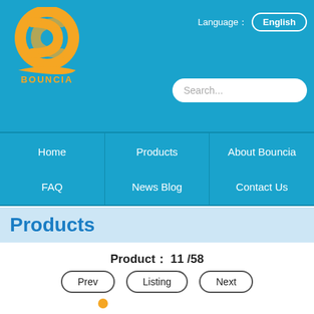[Figure (logo): Bouncia logo: orange stylized 'B' letter with orange text 'BOUNCIA' below]
Language： English
Search...
Home
Products
About Bouncia
FAQ
News Blog
Contact Us
Products
Product： 11 /58
Prev   Listing   Next
New Inflatable Commercial Water Splash Park / Floating Water Playground Equipment In Australia